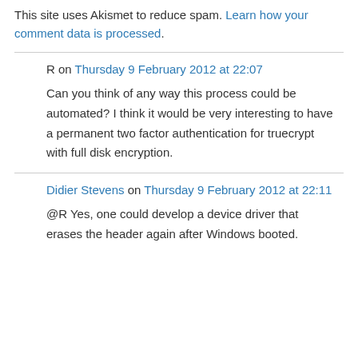This site uses Akismet to reduce spam. Learn how your comment data is processed.
R on Thursday 9 February 2012 at 22:07
Can you think of any way this process could be automated? I think it would be very interesting to have a permanent two factor authentication for truecrypt with full disk encryption.
Didier Stevens on Thursday 9 February 2012 at 22:11
@R Yes, one could develop a device driver that erases the header again after Windows booted.